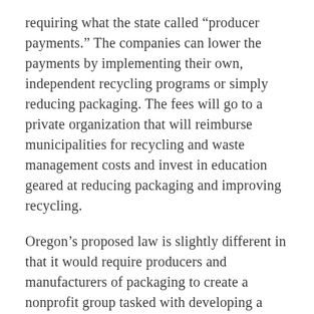requiring what the state called “producer payments.” The companies can lower the payments by implementing their own, independent recycling programs or simply reducing packaging. The fees will go to a private organization that will reimburse municipalities for recycling and waste management costs and invest in education geared at reducing packaging and improving recycling.
Oregon’s proposed law is slightly different in that it would require producers and manufacturers of packaging to create a nonprofit group tasked with developing a recycling plan for packaging materials.
Advocates of these strategies sometimes call them “extended producer responsibility.” They are widely used in Europe as well as in some Canadian provinces. The National Waste & Recycling Association, a Virginia-